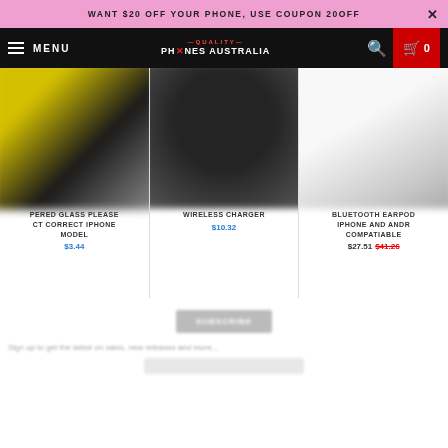WANT $20 OFF YOUR PHONE, USE COUPON 20OFF
[Figure (screenshot): Navigation bar with hamburger menu, Quality Phones Australia logo, search icon and red cart button showing 0 items]
[Figure (photo): Three product cards partially visible: left card showing tempered glass with yellow phone partially visible, center card showing wireless charger (round black), right card showing Bluetooth earbuds (white/gray). Product names and prices shown below each.]
PERED GLASS PLEASE CT CORRECT IPHONE MODEL
$3.44
WIRELESS CHARGER
$10.32
BLUETOOTH EARPOD IPHONE AND ANDR COMPATIABLE
$27.51 $41.26
Sign up to get the latest on sales, new releases and more...